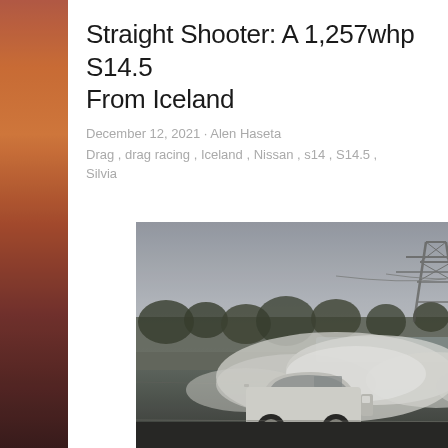Straight Shooter: A 1,257whp S14.5 From Iceland
December 12, 2021 · Alen Haseta
Drag , drag racing , Iceland , Nissan , s14 , S14.5 , Silvia
[Figure (photo): A white Nissan S14.5 Silvia drifting on a race track, producing large plumes of tire smoke, with blurred trees and an electrical pylon tower visible in the background under an overcast sky.]